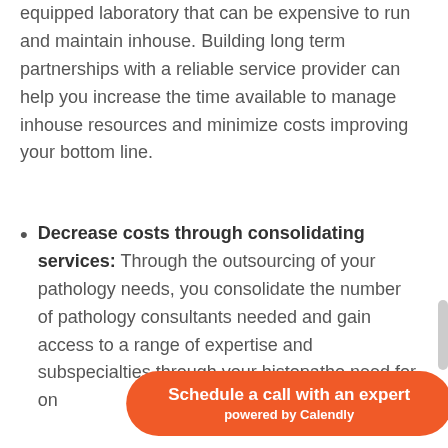equipped laboratory that can be expensive to run and maintain inhouse. Building long term partnerships with a reliable service provider can help you increase the time available to manage inhouse resources and minimize costs improving your bottom line.
Decrease costs through consolidating services: Through the outsourcing of your pathology needs, you consolidate the number of pathology consultants needed and gain access to a range of expertise and subspecialties through your histopatho... need for on...
[Figure (other): Orange rounded pill-shaped button overlay reading 'Schedule a call with an expert' and 'powered by Calendly' in white text]